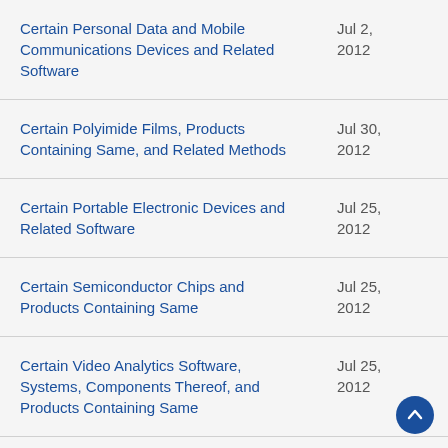Certain Personal Data and Mobile Communications Devices and Related Software — Jul 2, 2012
Certain Polyimide Films, Products Containing Same, and Related Methods — Jul 30, 2012
Certain Portable Electronic Devices and Related Software — Jul 25, 2012
Certain Semiconductor Chips and Products Containing Same — Jul 25, 2012
Certain Video Analytics Software, Systems, Components Thereof, and Products Containing Same — Jul 25, 2012